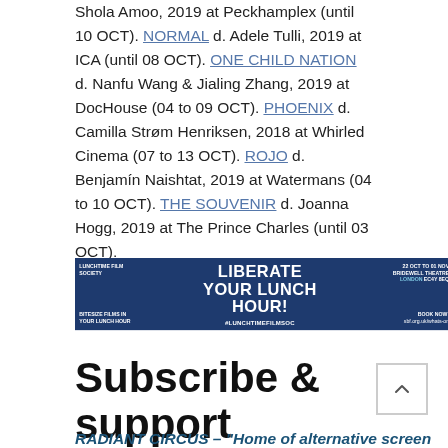Shola Amoo, 2019 at Peckhamplex (until 10 OCT). NORMAL d. Adele Tulli, 2019 at ICA (until 08 OCT). ONE CHILD NATION d. Nanfu Wang & Jialing Zhang, 2019 at DocHouse (04 to 09 OCT). PHOENIX d. Camilla Strøm Henriksen, 2018 at Whirled Cinema (07 to 13 OCT). ROJO d. Benjamín Naishtat, 2019 at Watermans (04 to 10 OCT). THE SOUVENIR d. Joanna Hogg, 2019 at The Prince Charles (until 03 OCT).
[Figure (other): Advertisement banner for Lunchtime Film Society. Blue background with text: LIBERATE YOUR LUNCH HOUR! #LUNCHTIMEFILMSOC. Left: LUNCHTIME FILM SOCIETY / BITESIZE FILMS IN YOUR LUNCH HOUR. Right: 22 OCT to 01 NOV / BRIDEWELL THEATRE / LONDON EC4Y 8EQ / BOOK NOW: sbf.org.uk/whats-on]
Subscribe & support
RADIANT CIRCUS – "Home of alternative screen